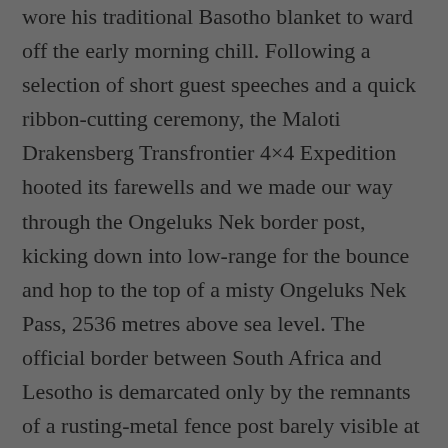wore his traditional Basotho blanket to ward off the early morning chill. Following a selection of short guest speeches and a quick ribbon-cutting ceremony, the Maloti Drakensberg Transfrontier 4×4 Expedition hooted its farewells and we made our way through the Ongeluks Nek border post, kicking down into low-range for the bounce and hop to the top of a misty Ongeluks Nek Pass, 2536 metres above sea level. The official border between South Africa and Lesotho is demarcated only by the remnants of a rusting-metal fence post barely visible at ground level at the top of the pass. If anyone ever tells you that it's impossible to be in two places at once, you can counter by saying that you've set your feet on either side of the rusty pole in the ground at the top of Ongeluksnek Pass. Sala kakuhle South Africa, lumela Lesotho!